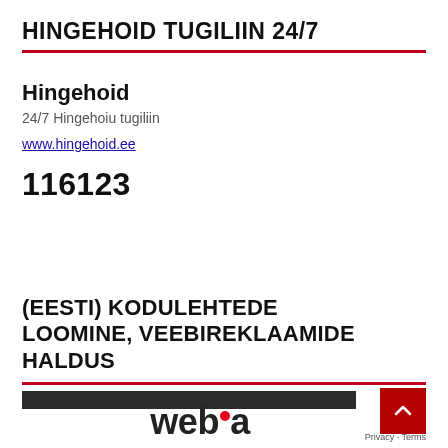HINGEHOID TUGILIIN 24/7
Hingehoid
24/7 Hingehoiu tugiliin
www.hingehoid.ee
116123
(EESTI) KODULEHTEDE LOOMINE, VEEBIREKLAAMIDE HALDUS
[Figure (logo): Webia logo text in dark with red dot]
Privacy · Terms